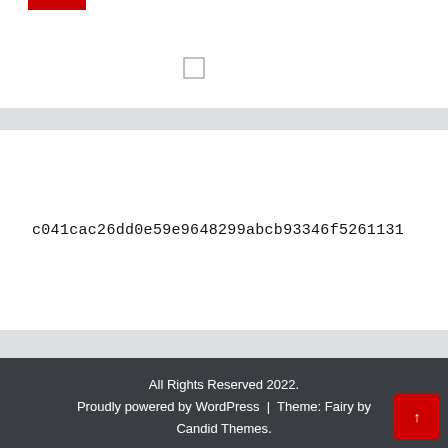[Figure (other): Red horizontal bar logo element at top left]
[Figure (other): Small empty checkbox/square outline centered near top]
c041cac26dd0e59e9648299abcb93346f5261131
All Rights Reserved 2022.
Proudly powered by WordPress | Theme: Fairy by Candid Themes.